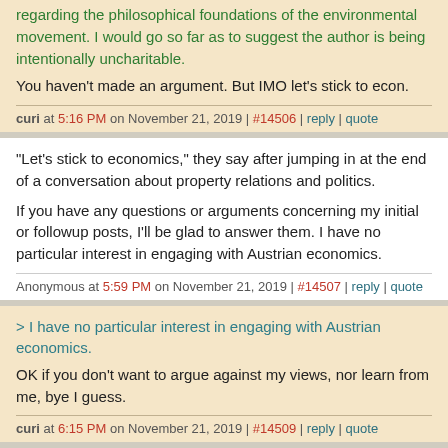regarding the philosophical foundations of the environmental movement. I would go so far as to suggest the author is being intentionally uncharitable.
You haven't made an argument. But IMO let's stick to econ.
curi at 5:16 PM on November 21, 2019 | #14506 | reply | quote
"Let's stick to economics," they say after jumping in at the end of a conversation about property relations and politics.
If you have any questions or arguments concerning my initial or followup posts, I'll be glad to answer them. I have no particular interest in engaging with Austrian economics.
Anonymous at 5:59 PM on November 21, 2019 | #14507 | reply | quote
> I have no particular interest in engaging with Austrian economics.
OK if you don't want to argue against my views, nor learn from me, bye I guess.
curi at 6:15 PM on November 21, 2019 | #14509 | reply | quote
The issues brought up in your original post, and the responses I made to it, were philosophical ones. If you want to present an